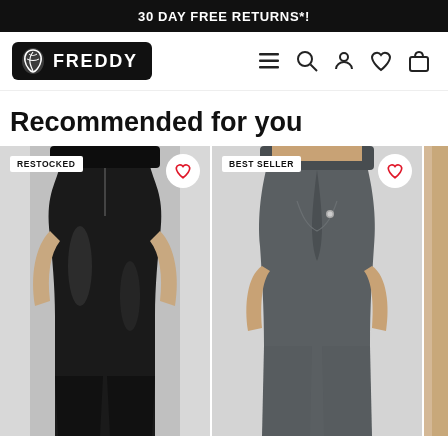30 DAY FREE RETURNS*!
[Figure (logo): Freddy brand logo — white leaf icon and FREDDY text on black rounded rectangle background]
Recommended for you
[Figure (photo): Product card with RESTOCKED badge and heart icon. Black faux-leather high-waist zip-front leggings worn by a model, shown from waist to ankle on a light grey background.]
[Figure (photo): Product card with BEST SELLER badge and heart icon. Grey high-waist sculpting leggings worn by a model from behind, shown from waist to thigh on a light grey background.]
[Figure (photo): Partial product card on right edge — beige/tan coloured leggings, only a narrow strip visible.]